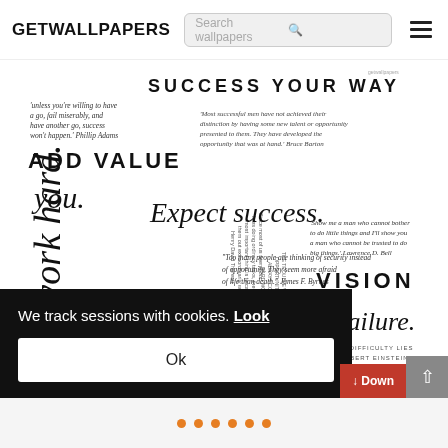GETWALLPAPERS
[Figure (screenshot): Website screenshot showing getwallpapers.com with a motivational quotes wallpaper featuring text like 'SUCCESS YOUR WAY', 'ADD VALUE', 'Expect success.', 'VISION', 'Embrace failure.', 'Dream big.', various motivational quotes in mixed typography styles on white background. A cookie consent banner overlays the lower portion reading 'We track sessions with cookies. Look' with an 'Ok' button. A red 'Down' button and gray scroll-to-top button are visible. Orange dots appear at the bottom.]